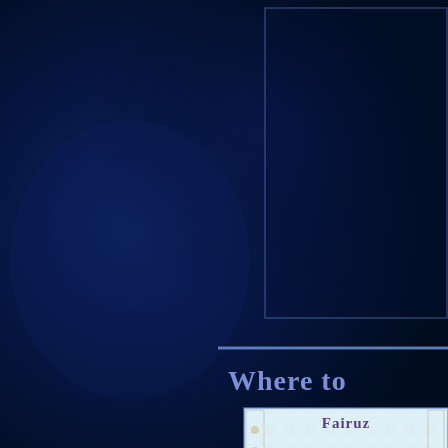[Figure (illustration): Dark navy blue decorative background with geometric box outline in top-right area and a horizontal dividing line below center-right.]
Where to
[Figure (illustration): Decorative album or book cover image labeled 'Fairuz' with Islamic architectural ornamental patterns, featuring a glowing teal/cyan bird or angel figure in the center against a light background.]